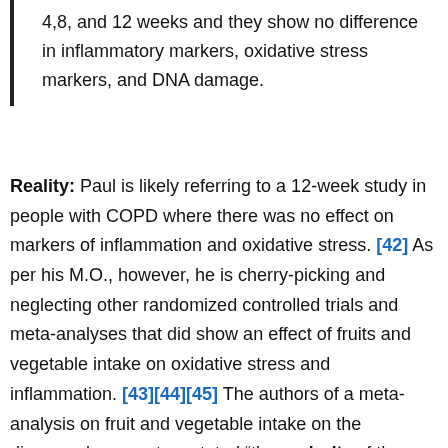4,8, and 12 weeks and they show no difference in inflammatory markers, oxidative stress markers, and DNA damage.
Reality: Paul is likely referring to a 12-week study in people with COPD where there was no effect on markers of inflammation and oxidative stress. [42] As per his M.O., however, he is cherry-picking and neglecting other randomized controlled trials and meta-analyses that did show an effect of fruits and vegetable intake on oxidative stress and inflammation. [43][44][45] The authors of a meta-analysis on fruit and vegetable intake on the discussed parameters stated "the majority of the